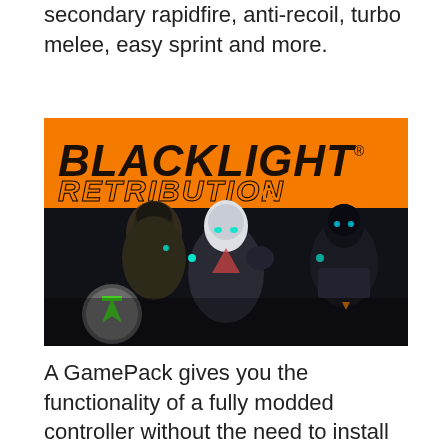secondary rapidfire, anti-recoil, turbo melee, easy sprint and more.
[Figure (screenshot): Blacklight Retribution GamePack promotional image showing three armored futuristic characters with orange and dark background. Text reads: BLACKLIGHT RETRIBUTION GAMEPACK with a registered trademark symbol.]
A GamePack gives you the functionality of a fully modded controller without the need to install chips or solder wires. Just load a GamePack into your device and you are ready to go. This innovative new technology isn't available anywhere else on